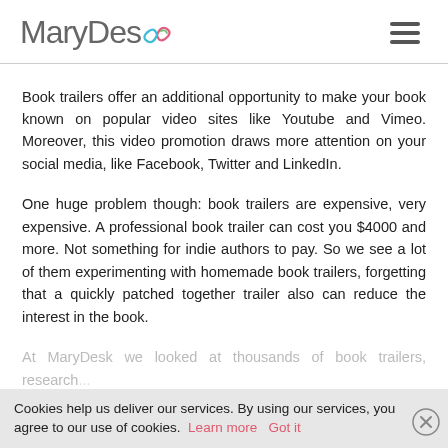[Figure (logo): MaryDesk logo with colorful swirl graphic]
Book trailers offer an additional opportunity to make your book known on popular video sites like Youtube and Vimeo. Moreover, this video promotion draws more attention on your social media, like Facebook, Twitter and LinkedIn.
One huge problem though: book trailers are expensive, very expensive. A professional book trailer can cost you $4000 and more. Not something for indie authors to pay. So we see a lot of them experimenting with homemade book trailers, forgetting that a quickly patched together trailer also can reduce the interest in the book.
At MaryDesk we looked at thousands of book trailers, researched and experimented with possibilities to reach a formula that allowed us to offer indie authors professional...
Cookies help us deliver our services. By using our services, you agree to our use of cookies. Learn more  Got it